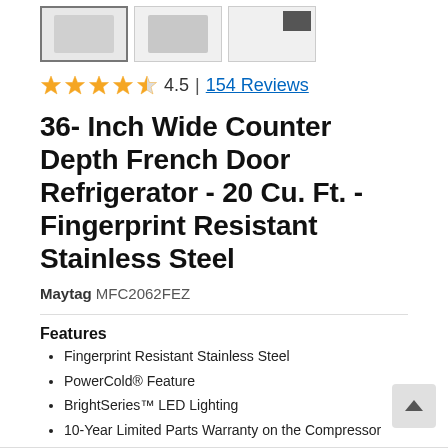[Figure (photo): Three product thumbnail images of a refrigerator in a row. The first thumbnail is selected (highlighted border). The thumbnails show different angles of a stainless steel refrigerator.]
4.5 | 154 Reviews
36- Inch Wide Counter Depth French Door Refrigerator - 20 Cu. Ft. - Fingerprint Resistant Stainless Steel
Maytag MFC2062FEZ
Features
Fingerprint Resistant Stainless Steel
PowerCold® Feature
BrightSeries™ LED Lighting
10-Year Limited Parts Warranty on the Compressor